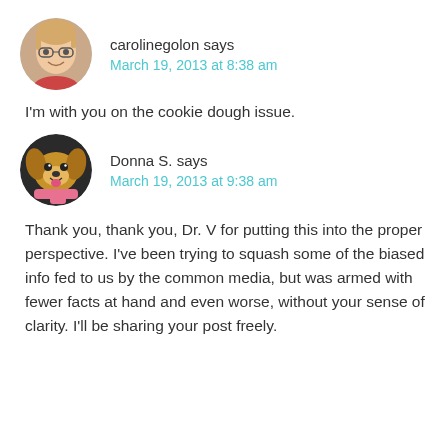[Figure (photo): Circular avatar photo of carolinegolon, a woman with glasses and blonde hair, smiling]
carolinegolon says
March 19, 2013 at 8:38 am
I'm with you on the cookie dough issue.
[Figure (photo): Circular avatar photo of Donna S., a golden retriever dog wearing a pink scarf]
Donna S. says
March 19, 2013 at 9:38 am
Thank you, thank you, Dr. V for putting this into the proper perspective. I've been trying to squash some of the biased info fed to us by the common media, but was armed with fewer facts at hand and even worse, without your sense of clarity. I'll be sharing your post freely.